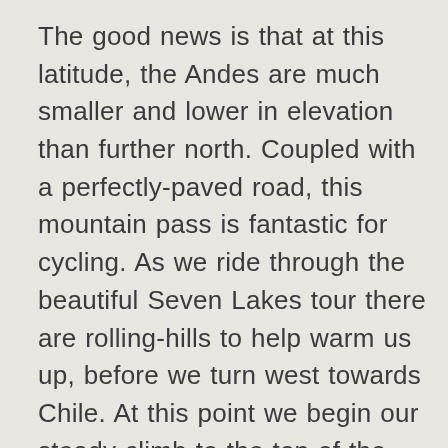The good news is that at this latitude, the Andes are much smaller and lower in elevation than further north. Coupled with a perfectly-paved road, this mountain pass is fantastic for cycling. As we ride through the beautiful Seven Lakes tour there are rolling-hills to help warm us up, before we turn west towards Chile. At this point we begin our steady climb to the top of the pass, which lies at about 3,900 feet (not too bad!), your reward is great views of an extinct volcano and the Andes all around us (of course, a photo under the “Welcome to Chile” sign is a must!). Once over the pass, we enter the Vicente Perez Rosales National Park in Chile, and almost immediately transition from the High Andean forests of Argentina to the Valdivian Rainforest of Chile, an ecoregion very similar to